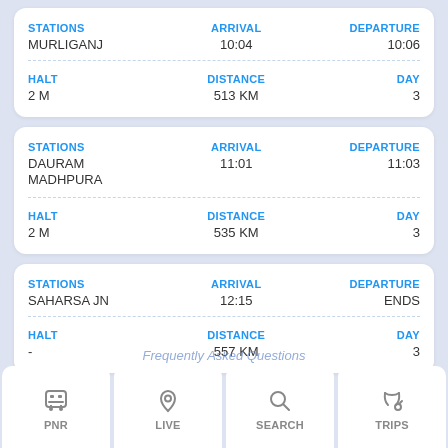| STATIONS | ARRIVAL | DEPARTURE |
| --- | --- | --- |
| MURLIGANJ | 10:04 | 10:06 |
| HALT | DISTANCE | DAY |
| --- | --- | --- |
| 2 M | 513 KM | 3 |
| STATIONS | ARRIVAL | DEPARTURE |
| --- | --- | --- |
| DAURAM MADHPURA | 11:01 | 11:03 |
| HALT | DISTANCE | DAY |
| --- | --- | --- |
| 2 M | 535 KM | 3 |
| STATIONS | ARRIVAL | DEPARTURE |
| --- | --- | --- |
| SAHARSA JN | 12:15 | ENDS |
| HALT | DISTANCE | DAY |
| --- | --- | --- |
| - | 557 KM | 3 |
PNR  LIVE  SEARCH  TRIPS